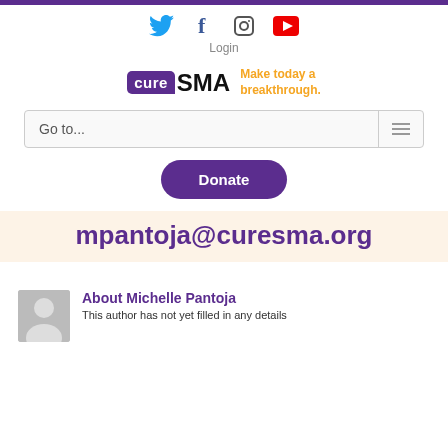Top purple bar
[Figure (infographic): Social media icons: Twitter (bird, blue), Facebook (f, dark blue), Instagram (camera outline, gray), YouTube (play button, red)]
Login
[Figure (logo): Cure SMA logo: purple rounded box with 'cure' in white, 'SMA' in black bold, tagline 'Make today a breakthrough.' in orange]
Go to...
Donate
mpantoja@curesma.org
About Michelle Pantoja
This author has not yet filled in any details